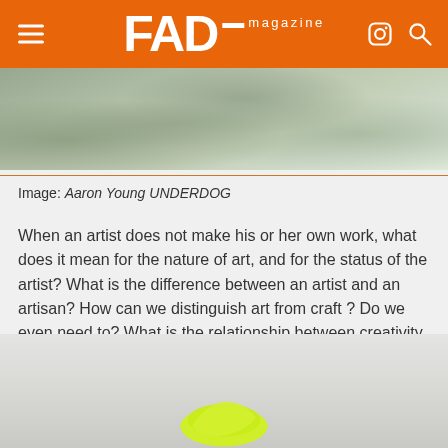FAD magazine
[Figure (photo): Top portion of an outdoor photo, appears to show water or rocks with a greenish-grey texture]
Image: Aaron Young UNDERDOG
When an artist does not make his or her own work, what does it mean for the nature of art, and for the status of the artist? What is the difference between an artist and an artisan? How can we distinguish art from craft ? Do we even need to? What is the relationship between creativity and production? Where is the art and where is the artist? What, indeed, is the art work?
[Figure (photo): Bottom portion showing the beginning of another photo with a yellow/lime green object visible against a light grey background]